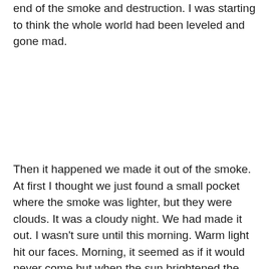end of the smoke and destruction. I was starting to think the whole world had been leveled and gone mad.
Then it happened we made it out of the smoke. At first I thought we just found a small pocket where the smoke was lighter, but they were clouds. It was a cloudy night. We had made it out. I wasn't sure until this morning. Warm light hit our faces. Morning, it seemed as if it would never come but when the sun brightened the sky I knew it.